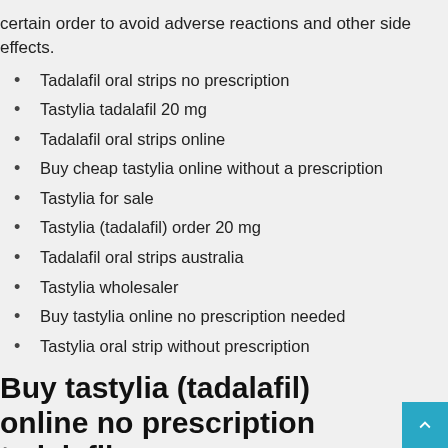certain order to avoid adverse reactions and other side effects.
Tadalafil oral strips no prescription
Tastylia tadalafil 20 mg
Tadalafil oral strips online
Buy cheap tastylia online without a prescription
Tastylia for sale
Tastylia (tadalafil) order 20 mg
Tadalafil oral strips australia
Tastylia wholesaler
Buy tastylia online no prescription needed
Tastylia oral strip without prescription
Buy tastylia (tadalafil) online no prescription tadalafil or…